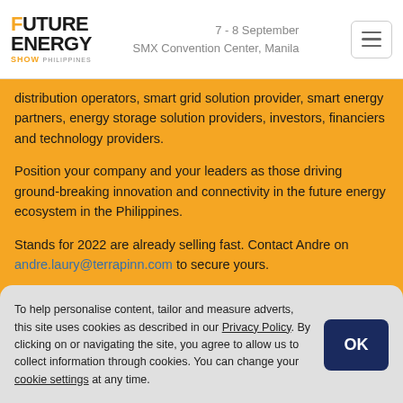FUTURE ENERGY SHOW — 7 - 8 September, SMX Convention Center, Manila
distribution operators, smart grid solution provider, smart energy partners, energy storage solution providers, investors, financiers and technology providers.
Position your company and your leaders as those driving ground-breaking innovation and connectivity in the future energy ecosystem in the Philippines.
Stands for 2022 are already selling fast. Contact Andre on andre.laury@terrapinn.com to secure yours.
Contact us today
To help personalise content, tailor and measure adverts, this site uses cookies as described in our Privacy Policy. By clicking on or navigating the site, you agree to allow us to collect information through cookies. You can change your cookie settings at any time.